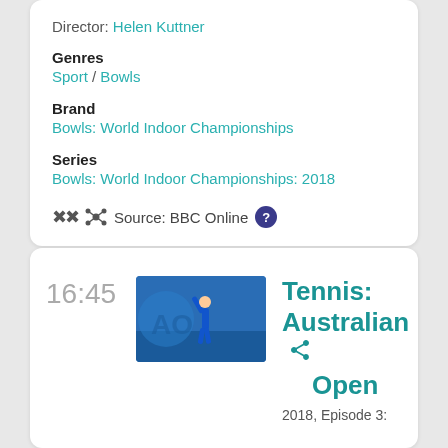Director: Helen Kuttner
Genres
Sport / Bowls
Brand
Bowls: World Indoor Championships
Series
Bowls: World Indoor Championships: 2018
Source: BBC Online ?
16:45
[Figure (photo): Tennis player serving on a blue court, Australian Open branding visible]
Tennis: Australian Open
2018, Episode 3: